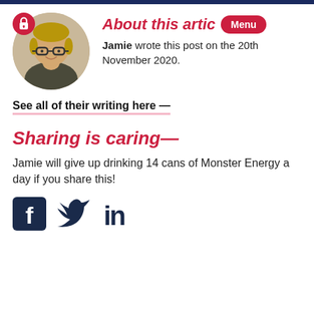[Figure (illustration): Circular avatar photo of Jamie with a red keyhole lock icon badge overlay in top-left]
About this article
Jamie wrote this post on the 20th November 2020.
See all of their writing here —
Sharing is caring—
Jamie will give up drinking 14 cans of Monster Energy a day if you share this!
[Figure (illustration): Social media icons: Facebook, Twitter, LinkedIn in dark navy color]